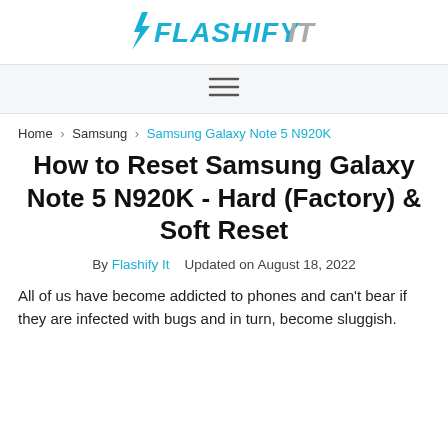FlashifyIt
≡
Home › Samsung › Samsung Galaxy Note 5 N920K
How to Reset Samsung Galaxy Note 5 N920K - Hard (Factory) & Soft Reset
By Flashify It   Updated on August 18, 2022
All of us have become addicted to phones and can't bear if they are infected with bugs and in turn, become sluggish.